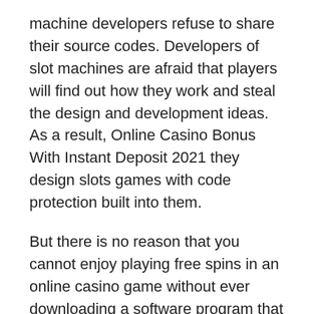machine developers refuse to share their source codes. Developers of slot machines are afraid that players will find out how they work and steal the design and development ideas. As a result, Online Casino Bonus With Instant Deposit 2021 they design slots games with code protection built into them.
But there is no reason that you cannot enjoy playing free spins in an online casino game without ever downloading a software program that gives you the chance to play without signing up. You can play slot machines without spending any money or entering any personal information on web pages that claim to offer free spins. And you can do this from the privacy and comfort of your own home. That's what makes it so unique online casino fun.